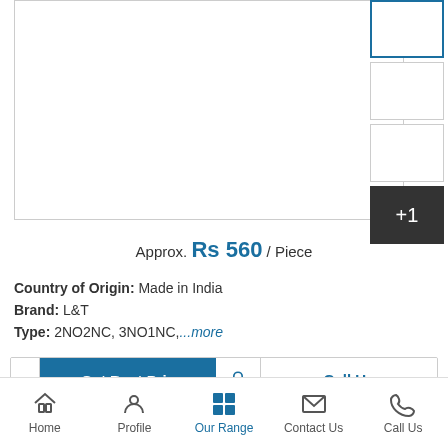[Figure (photo): Main product image area (white/empty) with thumbnail strip on right showing 3 empty thumbnails, first one selected with blue border, and a dark overlay tile showing '+1']
Approx. Rs 560 / Piece
Country of Origin: Made in India
Brand: L&T
Type: 2NO2NC, 3NO1NC,...more
Get Best Price  Call Us
Home   Profile   Our Range   Contact Us   Call Us